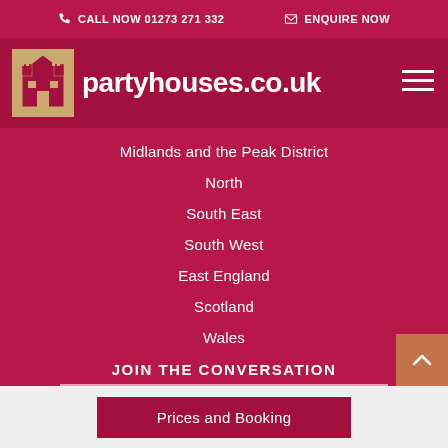CALL NOW 01273 271 332   ENQUIRE NOW
partyhouses.co.uk
Midlands and the Peak District
North
South East
South West
East England
Scotland
Wales
JOIN THE CONVERSATION
Facebook
Twitter
Prices and Booking